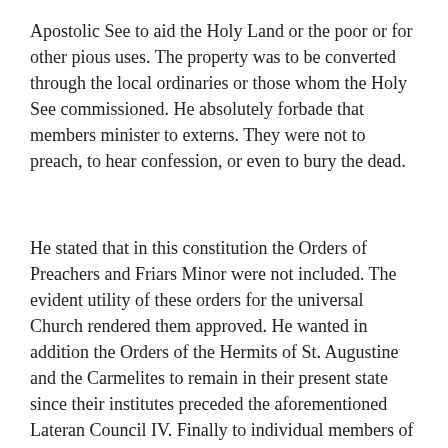Apostolic See to aid the Holy Land or the poor or for other pious uses. The property was to be converted through the local ordinaries or those whom the Holy See commissioned. He absolutely forbade that members minister to externs. They were not to preach, to hear confession, or even to bury the dead.
He stated that in this constitution the Orders of Preachers and Friars Minor were not included. The evident utility of these orders for the universal Church rendered them approved. He wanted in addition the Orders of the Hermits of St. Augustine and the Carmelites to remain in their present state since their institutes preceded the aforementioned Lateran Council IV. Finally to individual members of the orders to whom this constitution applied he granted general permission to transfer to other approved orders. This, however, was to be done in such a way that no order or convent transfer itself and its locale completely to another order or convent unless a prior special permission had been obtained from the Apostolic